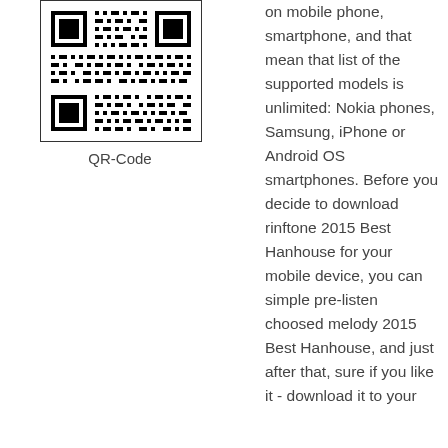[Figure (other): QR code image — square black and white QR code pattern]
QR-Code
on mobile phone, smartphone, and that mean that list of the supported models is unlimited: Nokia phones, Samsung, iPhone or Android OS smartphones. Before you decide to download rinftone 2015 Best Hanhouse for your mobile device, you can simple pre-listen choosed melody 2015 Best Hanhouse, and just after that, sure if you like it - download it to your